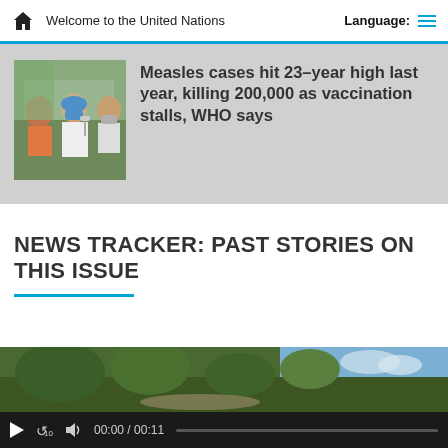Welcome to the United Nations
Measles cases hit 23-year high last year, killing 200,000 as vaccination stalls, WHO says
NEWS TRACKER: PAST STORIES ON THIS ISSUE
[Figure (screenshot): Video player showing outdoor scene with trees and sky, with playback controls showing 00:00 / 00:11]